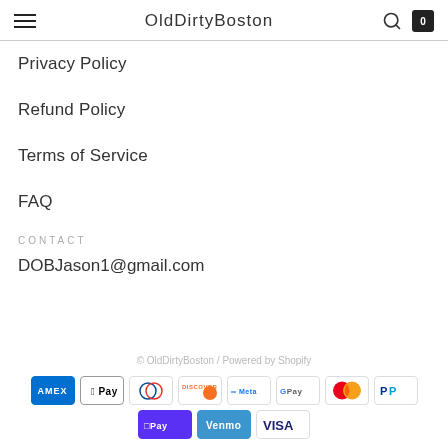OldDirtyBoston
Privacy Policy
Refund Policy
Terms of Service
FAQ
CONTACT
DOBJason1@gmail.com
© OldDirtyBoston / Powered by Shopify
[Figure (other): Payment method icons: American Express, Apple Pay, Diners Club, Discover, Meta Pay, Google Pay, Mastercard, PayPal, Shop Pay, Venmo, Visa]